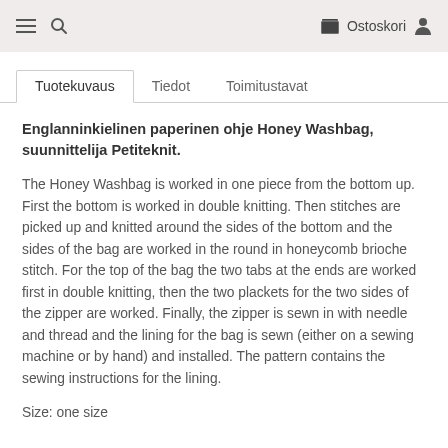≡  🔍   Ostoskori  👤
Tuotekuvaus  Tiedot  Toimitustavat
Englanninkielinen paperinen ohje Honey Washbag, suunnittelija Petiteknit.
The Honey Washbag is worked in one piece from the bottom up. First the bottom is worked in double knitting. Then stitches are picked up and knitted around the sides of the bottom and the sides of the bag are worked in the round in honeycomb brioche stitch. For the top of the bag the two tabs at the ends are worked first in double knitting, then the two plackets for the two sides of the zipper are worked. Finally, the zipper is sewn in with needle and thread and the lining for the bag is sewn (either on a sewing machine or by hand) and installed. The pattern contains the sewing instructions for the lining.
Size: one size